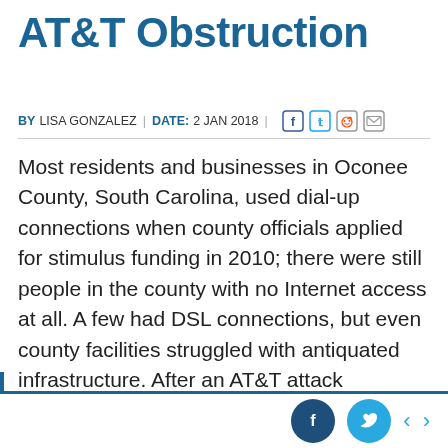AT&T Obstruction
BY LISA GONZALEZ | DATE: 2 JAN 2018 |
Most residents and businesses in Oconee County, South Carolina, used dial-up connections when county officials applied for stimulus funding in 2010; there were still people in the county with no Internet access at all. A few had DSL connections, but even county facilities struggled with antiquated infrastructure. After an AT&T attack upended their plan to offer retail services, they pressed on and improved connectivity in the rural community. Powerful incumbent forces and a bad state law, however, eventually led this community to abandon its...